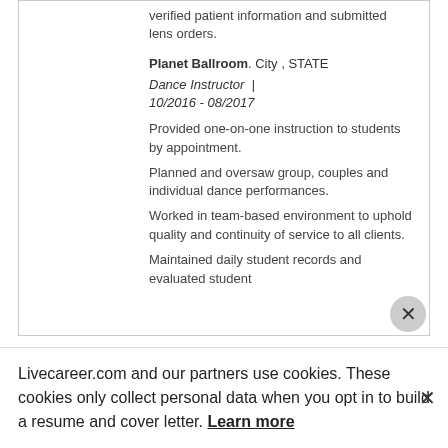verified patient information and submitted lens orders.
Planet Ballroom. City , STATE
Dance Instructor  |  10/2016 - 08/2017
Provided one-on-one instruction to students by appointment.
Planned and oversaw group, couples and individual dance performances.
Worked in team-based environment to uphold quality and continuity of service to all clients.
Maintained daily student records and evaluated student
Livecareer.com and our partners use cookies. These cookies only collect personal data when you opt in to build a resume and cover letter. Learn more